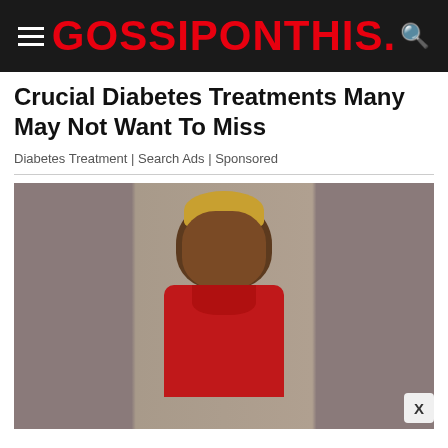GOSSIPONTHIS.
Crucial Diabetes Treatments Many May Not Want To Miss
Diabetes Treatment | Search Ads | Sponsored
[Figure (photo): Mugshot-style photograph of a young Black woman wearing a red hoodie, with dyed blonde hair pulled back, against a gray background. The image is split into three panels — blurred sides and a clear center.]
X